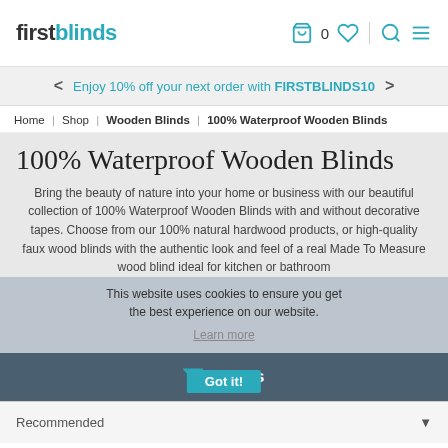firstblinds — header with cart, wishlist, search, menu icons
Enjoy 10% off your next order with FIRSTBLINDS10
Home | Shop | Wooden Blinds | 100% Waterproof Wooden Blinds
100% Waterproof Wooden Blinds
Bring the beauty of nature into your home or business with our beautiful collection of 100% Waterproof Wooden Blinds with and without decorative tapes. Choose from our 100% natural hardwood products, or high-quality faux wood blinds with the authentic look and feel of a real Made To Measure wood blind ideal for kitchen or bathroom
This website uses cookies to ensure you get the best experience on our website.
Learn more
Got it!
Filters
Recommended